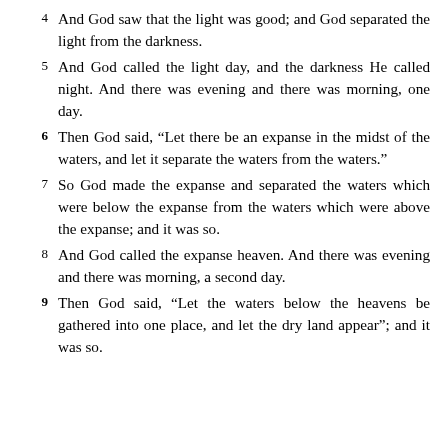4 And God saw that the light was good; and God separated the light from the darkness.
5 And God called the light day, and the darkness He called night. And there was evening and there was morning, one day.
6 Then God said, “Let there be an expanse in the midst of the waters, and let it separate the waters from the waters.”
7 So God made the expanse and separated the waters which were below the expanse from the waters which were above the expanse; and it was so.
8 And God called the expanse heaven. And there was evening and there was morning, a second day.
9 Then God said, “Let the waters below the heavens be gathered into one place, and let the dry land appear”; and it was so.